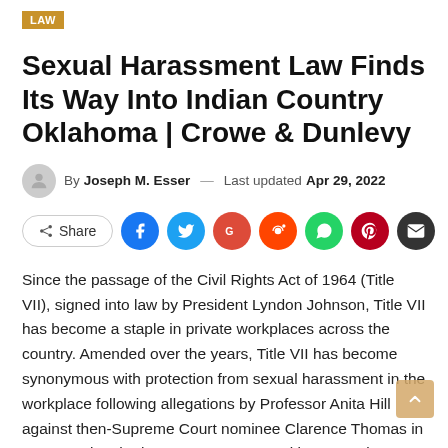LAW
Sexual Harassment Law Finds Its Way Into Indian Country Oklahoma | Crowe & Dunlevy
By Joseph M. Esser — Last updated Apr 29, 2022
[Figure (infographic): Social share buttons row: Share button, Facebook, Twitter, Google+, Reddit, WhatsApp, Pinterest, Email icons]
Since the passage of the Civil Rights Act of 1964 (Title VII), signed into law by President Lyndon Johnson, Title VII has become a staple in private workplaces across the country. Amended over the years, Title VII has become synonymous with protection from sexual harassment in the workplace following allegations by Professor Anita Hill against then-Supreme Court nominee Clarence Thomas in 1994. During the last quarter century, Title VII continues to be the primary mechanism.